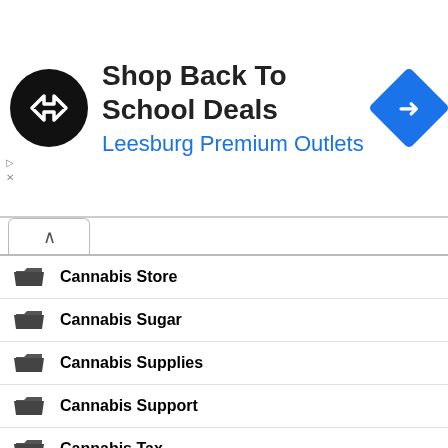[Figure (infographic): Advertisement banner: black circular logo with arrow symbol, text 'Shop Back To School Deals' and 'Leesburg Premium Outlets' in blue, blue diamond navigation icon on the right. Small play and close markers on the left edge.]
Cannabis Store
Cannabis Sugar
Cannabis Supplies
Cannabis Support
Cannabis Tax
Cannabis Taxes
Cannabis Tea
Cannabis Testing
Cannabis Theme Games
Cannabis Tinctures